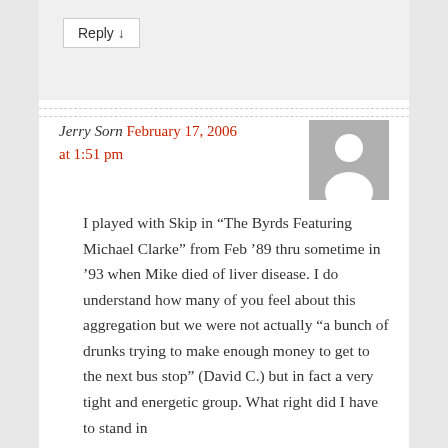Reply ↓
Jerry Sorn February 17, 2006 at 1:51 pm
[Figure (illustration): Gray placeholder avatar silhouette — generic user profile image with gray background and white person icon]
I played with Skip in “The Byrds Featuring Michael Clarke” from Feb ’89 thru sometime in ’93 when Mike died of liver disease. I do understand how many of you feel about this aggregation but we were not actually “a bunch of drunks trying to make enough money to get to the next bus stop” (David C.) but in fact a very tight and energetic group. What right did I have to stand in